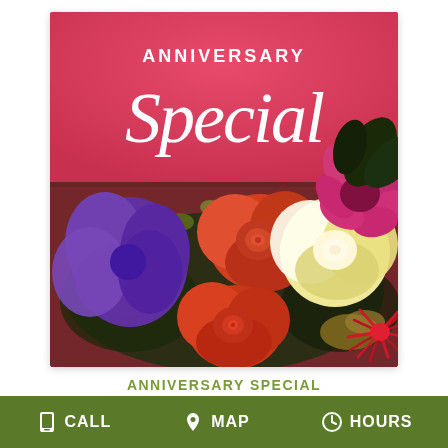[Figure (photo): Anniversary Special Designer's Choice floral arrangement product image. Pink/coral background at top with white text 'ANNIVERSARY' in uppercase and 'Special' in large italic cursive script. Lower portion shows colorful flower bouquet with orange roses, purple lisianthus, cream/yellow roses, pink gerbera daisy, red spider chrysanthemum, and green foliage.]
ANNIVERSARY SPECIAL
DESIGNER'S CHOICE
CALL  MAP  HOURS